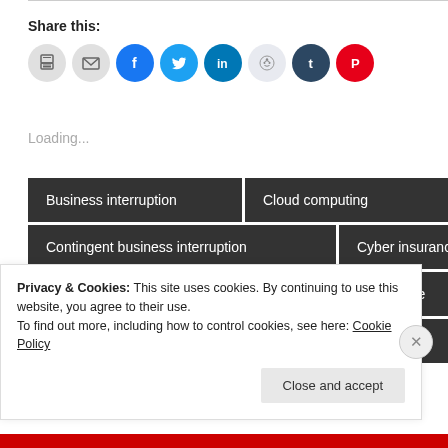Share this:
[Figure (other): Row of social sharing icon buttons: print, email, Facebook, Twitter, LinkedIn, Reddit, Tumblr, Pinterest]
Loading...
Business interruption
Cloud computing
Contingent business interruption
Cyber insurance
D&O Insurance
Data breach insurance coverage
Denial-of-service
First party insurance coverage
Privacy & Cookies: This site uses cookies. By continuing to use this website, you agree to their use.
To find out more, including how to control cookies, see here: Cookie Policy
Close and accept